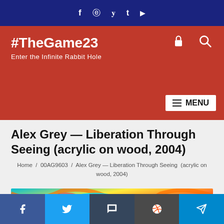f  ⊕  𝐭  t  ▶  (social icons top bar)
#TheGame23
Enter the Infinite Rabbit Hole
Alex Grey — Liberation Through Seeing (acrylic on wood, 2004)
Home / 00AG9603 / Alex Grey — Liberation Through Seeing (acrylic on wood, 2004)
[Figure (illustration): Colorful psychedelic painting by Alex Grey showing multiple eyes with rainbow swirling patterns, highly detailed acrylic on wood artwork from 2004]
f  (twitter bird)  t  (reddit alien)  (paper plane) — social share buttons